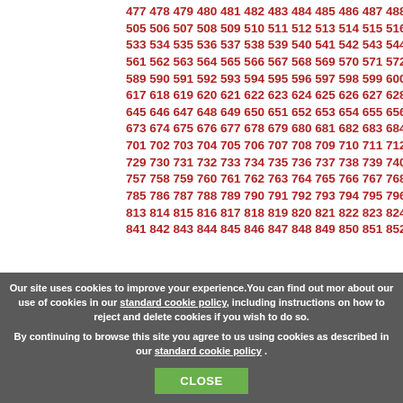477 478 479 480 481 482 483 484 485 486 487 488 505 506 507 508 509 510 511 512 513 514 515 516 533 534 535 536 537 538 539 540 541 542 543 544 561 562 563 564 565 566 567 568 569 570 571 572 589 590 591 592 593 594 595 596 597 598 599 600 617 618 619 620 621 622 623 624 625 626 627 628 645 646 647 648 649 650 651 652 653 654 655 656 673 674 675 676 677 678 679 680 681 682 683 684 701 702 703 704 705 706 707 708 709 710 711 712 729 730 731 732 733 734 735 736 737 738 739 740 757 758 759 760 761 762 763 764 765 766 767 768 785 786 787 788 789 790 791 792 793 794 795 796 813 814 815 816 817 818 819 820 821 822 823 824 841 842 843 844 845 846 847 848 849 850 851 852
Our site uses cookies to improve your experience. You can find out more about our use of cookies in our standard cookie policy, including instructions on how to reject and delete cookies if you wish to do so. By continuing to browse this site you agree to us using cookies as described in our standard cookie policy . CLOSE